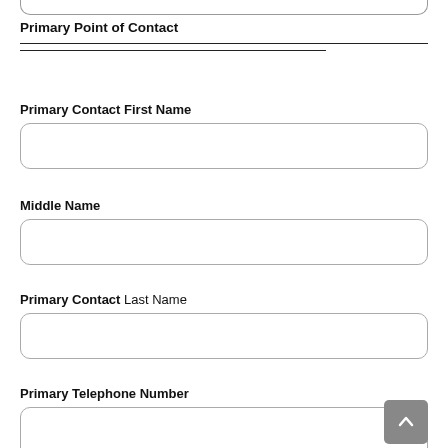Primary Point of Contact
Primary Contact First Name
Middle Name
Primary Contact Last Name
Primary Telephone Number